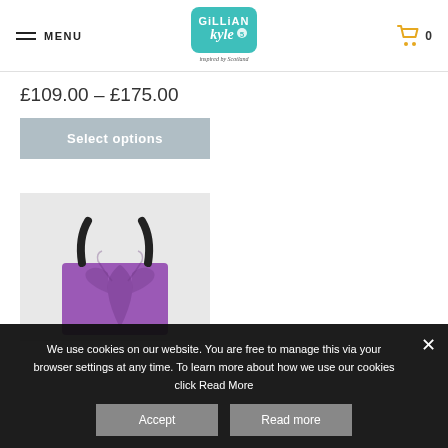MENU | Gillian Kyle - inspired by Scotland | Cart 0
£109.00 – £175.00
Select options
[Figure (photo): Purple tote bag with black thistle print design and black handles, displayed against a light grey background]
We use cookies on our website. You are free to manage this via your browser settings at any time. To learn more about how we use our cookies click Read More
Accept
Read more